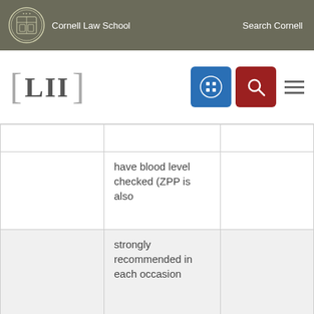Cornell Law School | Search Cornell
[Figure (logo): LII Legal Information Institute logo with Cornell Law School header and navigation icons]
|  | have blood level checked (ZPP is also |  |
|  | strongly recommended in each occasion |  |
|  | that a blood lead is obtained): |  |